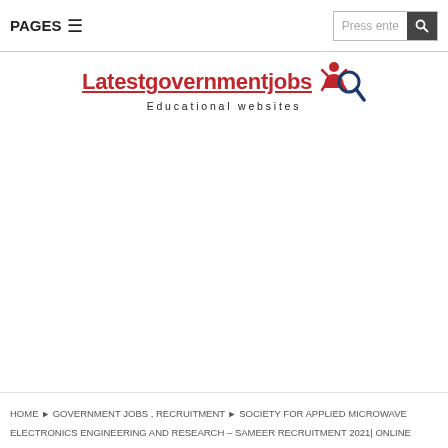PAGES ≡  Press ente 🔍
[Figure (logo): Latestgovernmentjobs logo with red text, figure icon, magnifying glass, and 'Educational websites' subtitle]
HOME ▶ GOVERNMENT JOBS , RECRUITMENT ▶ SOCIETY FOR APPLIED MICROWAVE ELECTRONICS ENGINEERING AND RESEARCH – SAMEER RECRUITMENT 2021| ONLINE